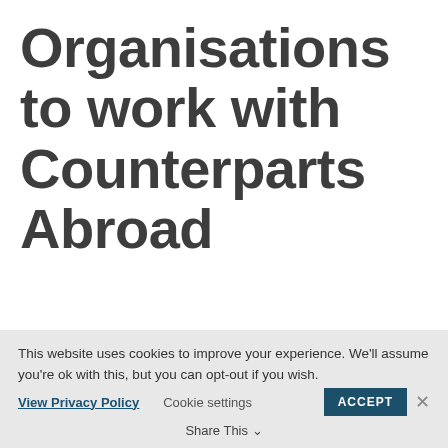Organisations to work with Counterparts Abroad
This website uses cookies to improve your experience. We'll assume you're ok with this, but you can opt-out if you wish.
View Privacy Policy   Cookie settings   Share This   ACCEPT   ×